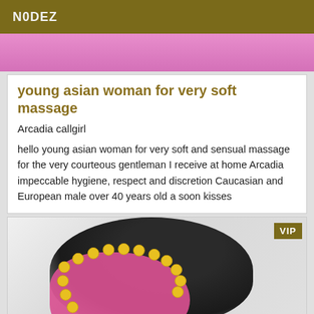N0DEZ
[Figure (photo): Top partial photo showing pink/magenta background, cropped at top]
young asian woman for very soft massage
Arcadia callgirl
hello young asian woman for very soft and sensual massage for the very courteous gentleman I receive at home Arcadia impeccable hygiene, respect and discretion Caucasian and European male over 40 years old a soon kisses
[Figure (photo): Photo of young woman with dark hair, pink top, yellow bead necklace, white tile background, VIP badge overlay]